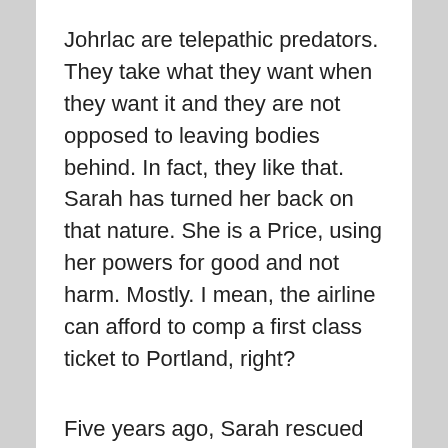Johrlac are telepathic predators. They take what they want when they want it and they are not opposed to leaving bodies behind. In fact, they like that. Sarah has turned her back on that nature. She is a Price, using her powers for good and not harm. Mostly. I mean, the airline can afford to comp a first class ticket to Portland, right?
Five years ago, Sarah rescued her sister Verity by using her telepathic powers. Afterward, she had a breakdown. Not even able to speak for a while, she has gradually regained her strength and her powers. Now, she is attempting her first solo trip across